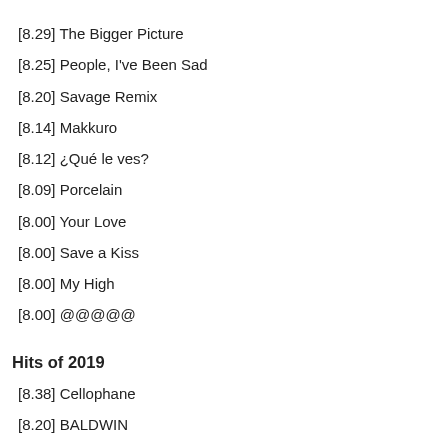[8.29] The Bigger Picture
[8.25] People, I've Been Sad
[8.20] Savage Remix
[8.14] Makkuro
[8.12] ¿Qué le ves?
[8.09] Porcelain
[8.00] Your Love
[8.00] Save a Kiss
[8.00] My High
[8.00] @@@@@
Hits of 2019
[8.38] Cellophane
[8.20] BALDWIN
[8.17] 49-99